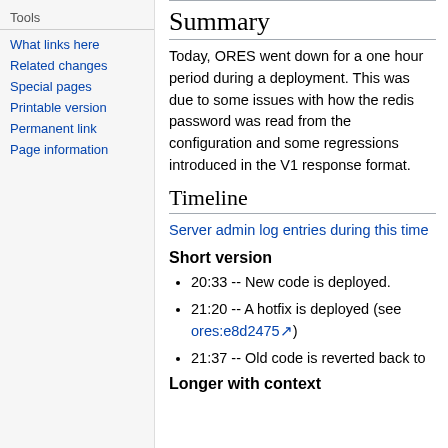What links here
Related changes
Special pages
Printable version
Permanent link
Page information
Summary
Today, ORES went down for a one hour period during a deployment. This was due to some issues with how the redis password was read from the configuration and some regressions introduced in the V1 response format.
Timeline
Server admin log entries during this time
Short version
20:33 -- New code is deployed.
21:20 -- A hotfix is deployed (see ores:e8d2475)
21:37 -- Old code is reverted back to
Longer with context